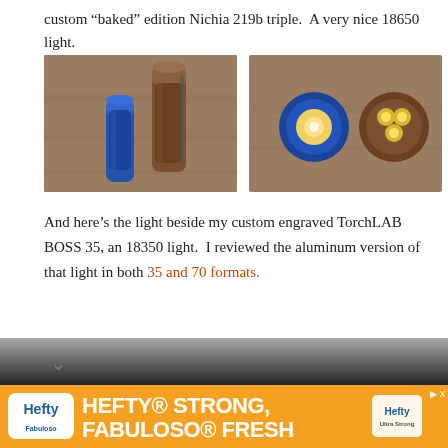custom “baked” edition Nichia 219b triple.  A very nice 18650 light.
[Figure (photo): Two flashlights standing upright on a wooden surface — a smaller blue flashlight on the left and a taller brown/copper flashlight on the right with a clip.]
[Figure (photo): Two flashlights lying on a wooden surface showing their emitter ends — a blue one on the left with a single LED and a brown/copper one on the right with three LEDs arranged in a triangle.]
And here’s the light beside my custom engraved TorchLAB BOSS 35, an 18350 light.  I reviewed the aluminum version of that light in both 35 and 70 formats.
[Figure (screenshot): Partially visible dark image at the bottom of the page, with a chevron/down-arrow icon visible on the left.]
[Figure (infographic): Hefty advertisement banner with orange background. Shows Hefty logo, Fabuloso logo, and text: HEFTY STRONG, FABULOSO FRESH]